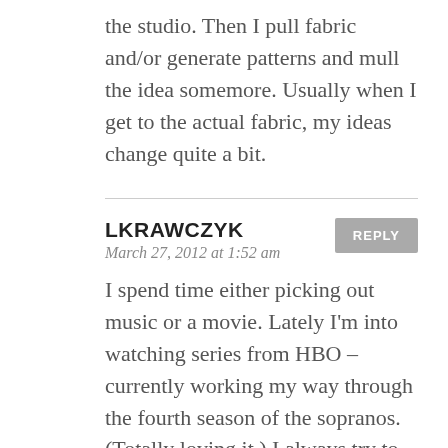the studio. Then I pull fabric and/or generate patterns and mull the idea somemore. Usually when I get to the actual fabric, my ideas change quite a bit.
LKRAWCZYK
March 27, 2012 at 1:52 am
I spend time either picking out music or a movie. Lately I'm into watching series from HBO – currently working my way through the fourth season of the sopranos. (Totally loving it.) I always try to leave my computer downstairs, too much of a